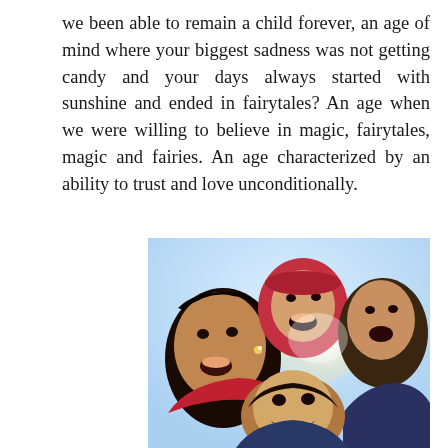we been able to remain a child forever, an age of mind where your biggest sadness was not getting candy and your days always started with sunshine and ended in fairytales? An age when we were willing to believe in magic, fairytales, magic and fairies. An age characterized by an ability to trust and love unconditionally.
[Figure (photo): Photograph taken from below of several laughing children looking down into the camera, viewed from a low angle against a bright sky background. Children appear joyful with mouths open laughing.]